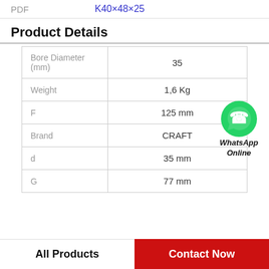PDF  K40×48×25
Product Details
| Property | Value |
| --- | --- |
| Bore Diameter (mm) | 35 |
| Weight | 1,6 Kg |
| F | 125 mm |
| Brand | CRAFT |
| d | 35 mm |
| G | 77 mm |
[Figure (logo): WhatsApp Online button with green WhatsApp logo circle and italic bold text 'WhatsApp Online']
All Products
Contact Now